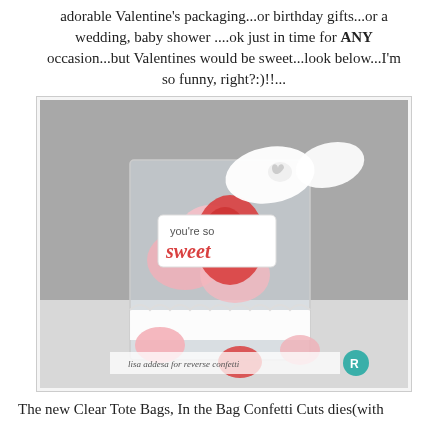adorable Valentine's packaging...or birthday gifts...or a wedding, baby shower ....ok just in time for ANY occasion...but Valentines would be sweet...look below...I'm so funny, right?:)!!...
[Figure (photo): A clear tote bag filled with heart-shaped decorated cookies in pink and red, tied with a white textured bow and a tag reading 'you're so sweet'. Small heart cookies are scattered in front. A watermark reads 'lisa addesa for reverse confetti' with a teal Reverse Confetti logo.]
The new Clear Tote Bags, In the Bag Confetti Cuts dies(with